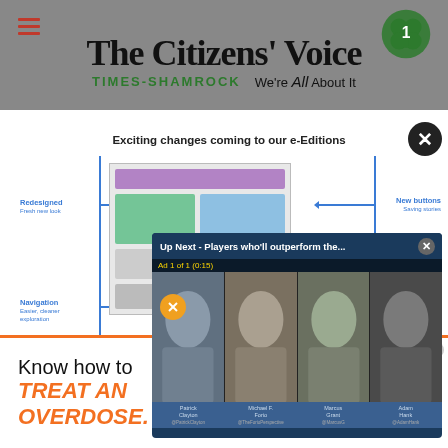[Figure (screenshot): The Citizens' Voice newspaper website header with Times-Shamrock logo, shamrock icon, and tagline 'We're All About It']
[Figure (screenshot): Modal popup showing 'Exciting changes coming to our e-Editions' with redesigned layout diagram showing Redesigned, Navigation, and New buttons labels with arrows pointing to a newspaper screenshot]
[Figure (screenshot): Video player overlay titled 'Up Next - Players who'll outperform the...' with Ad 1 of 1 (0:15) label, showing four sports analysts: Patrick Clayton, Michael F. Forio, Marcus Grant, Adam Hank]
[Figure (screenshot): Bottom advertisement banner: 'Know how to TREAT AN OVERDOSE.' with orange LEARN MORE button and CURB THE CRISIS branding]